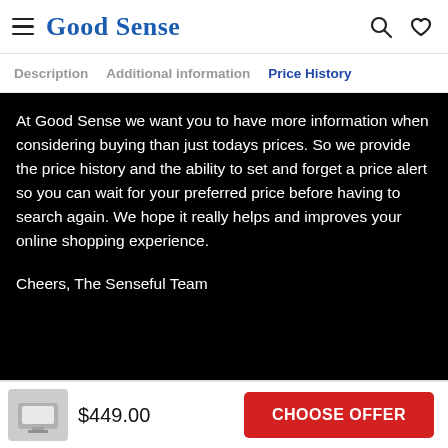Good Sense
Description   Additional information   Price History
At Good Sense we want you to have more information when considering buying than just todays prices.  So we provide the price history and the ability to set and forget a price alert so you can wait for your preferred price before having to search again.  We hope it really helps and improves your online shopping experience.

Cheers, The Senseful Team
Links
$449.00
CHOOSE OFFER